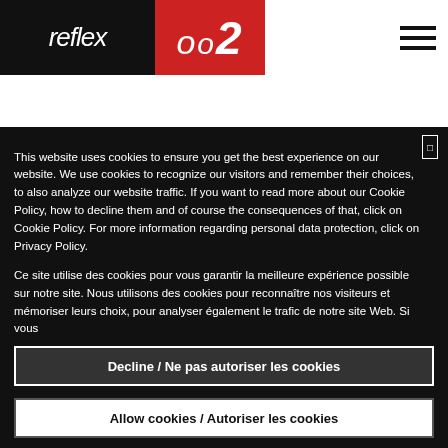[Figure (logo): reflex oo2 logo — 'reflex' in white italic on black background, 'oo2' in white italic on red background]
[Figure (logo): Partner strip showing icons and text: Fond of Code, Cyber Ignis logos on grey background]
This website uses cookies to ensure you get the best experience on our website. We use cookies to recognize our visitors and remember their choices, to also analyze our website traffic. If you want to read more about our Cookie Policy, how to decline them and of course the consequences of that, click on Cookie Policy. For more information regarding personal data protection, click on Privacy Policy.
Ce site utilise des cookies pour vous garantir la meilleure expérience possible sur notre site. Nous utilisons des cookies pour reconnaître nos visiteurs et mémoriser leurs choix, pour analyser également le trafic de notre site Web. Si vous
Decline / Ne pas autoriser les cookies
Allow cookies / Autoriser les cookies